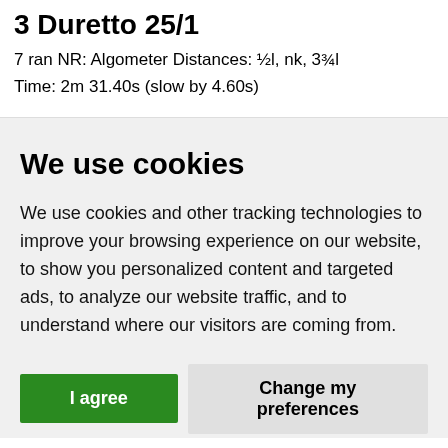3 Duretto 25/1
7 ran NR: Algometer Distances: ½l, nk, 3¾l
Time: 2m 31.40s (slow by 4.60s)
We use cookies
We use cookies and other tracking technologies to improve your browsing experience on our website, to show you personalized content and targeted ads, to analyze our website traffic, and to understand where our visitors are coming from.
I agree | Change my preferences